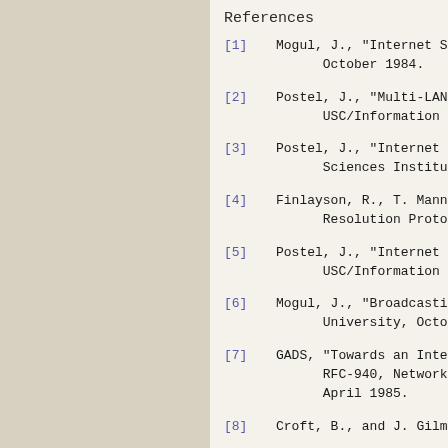References
[1]   Mogul, J., "Internet Subne
      October 1984.
[2]   Postel, J., "Multi-LAN Add
      USC/Information Sciences I
[3]   Postel, J., "Internet Prot
      Sciences Institute, Septem
[4]   Finlayson, R., T. Mann, J.
      Resolution Protocol", RFC-
[5]   Postel, J., "Internet Cont
      USC/Information Sciences I
[6]   Mogul, J., "Broadcasting I
      University, October 1984.
[7]   GADS, "Towards an Internet
      RFC-940, Network Informati
      April 1985.
[8]   Croft, B., and J. Gilmore,